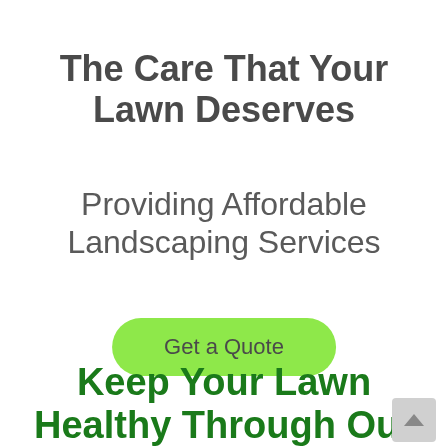The Care That Your Lawn Deserves
Providing Affordable Landscaping Services
Get a Quote
Keep Your Lawn Healthy Through Our